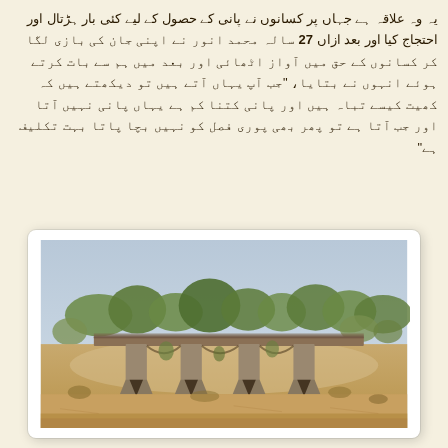یہ وہ علاقہ ہے جہاں پر کسانوں نے پانی کے حصول کے لیے کئی بار ہڑتال اور احتجاج کیا اور بعد ازاں 27 سالہ محمد انور نے اپنی جان کی بازی لگا کر کسانوں کے حق میں آواز اٹھائی اور بعد میں ہم سے بات کرتے ہوئے انہوں نے بتایا، "جب آپ یہاں آتے ہیں تو دیکھتے ہیں کہ کھیت کیسے تباہ ہیں اور پانی کتنا کم ہے یہاں پانی نہیں آتا اور جب آتا ہے تو پھر بھی پوری فصل کو نہیں بچا پاتا بہت تکلیف ہے"
[Figure (photo): A dry riverbed with an old concrete bridge structure supported by multiple pillars/piers. The surrounding landscape is arid and dry with sparse trees and dry grass. The sky is hazy/overcast. The image shows drought-like conditions.]